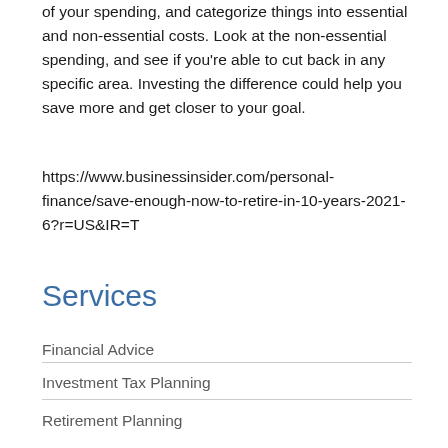of your spending, and categorize things into essential and non-essential costs. Look at the non-essential spending, and see if you're able to cut back in any specific area. Investing the difference could help you save more and get closer to your goal.
https://www.businessinsider.com/personal-finance/save-enough-now-to-retire-in-10-years-2021-6?r=US&IR=T
Services
Financial Advice
Investment Tax Planning
Retirement Planning